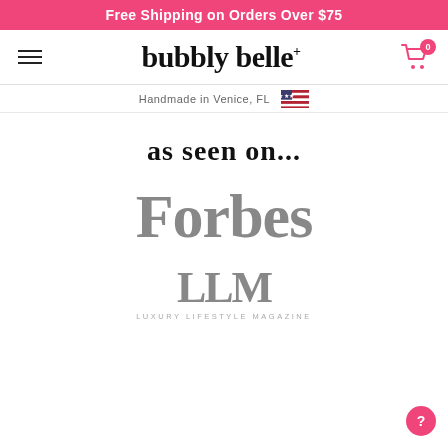Free Shipping on Orders Over $75
[Figure (logo): bubbly belle brand logo with star superscript]
Handmade in Venice, FL [US flag icon]
as seen on...
[Figure (logo): Forbes magazine logo in gray]
[Figure (logo): LLM Luxury Lifestyle Magazine logo in gray]